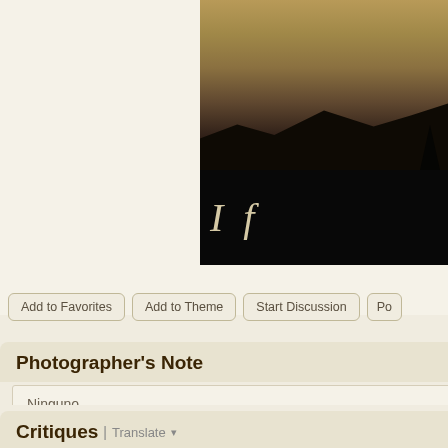[Figure (photo): Partial view of a landscape/sunset photograph with mountains and dark silhouette trees, with italic text 'I f' on black bar below]
Add to Favorites | Add to Theme | Start Discussion | Po...
Photographer's Note
Ninguno
Critiques | Translate
ommishra (1160) 2008-09-07 22:19 [Comment]
Show Comment ▶